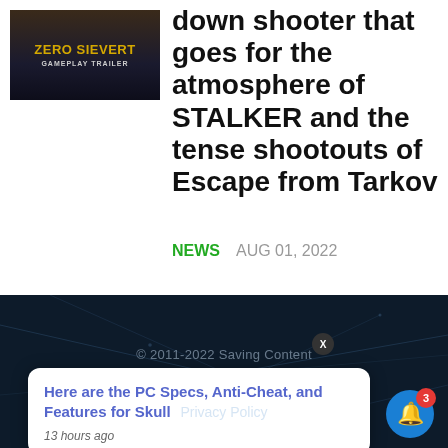[Figure (screenshot): Zero Sievert gameplay trailer thumbnail — dark background with yellow bold title text 'ZERO SIEVERT' and subtitle 'GAMEPLAY TRAILER']
down shooter that goes for the atmosphere of STALKER and the tense shootouts of Escape from Tarkov
NEWS   AUG 01, 2022
[Figure (screenshot): Dark website footer with network grid background lines, copyright text '© 2011-2022 Saving Content', a notification popup, and privacy policy link]
© 2011-2022 Saving Content
Here are the PC Specs, Anti-Cheat, and Features for Skull
13 hours ago
Privacy Policy